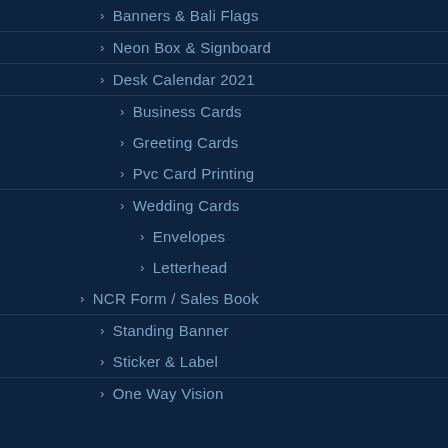Banners & Bali Flags
Neon Box & Signboard
Desk Calendar 2021
Business Cards
Greeting Cards
Pvc Card Printing
Wedding Cards
Envelopes
Letterhead
NCR Form / Sales Book
Standing Banner
Sticker & Label
One Way Vision